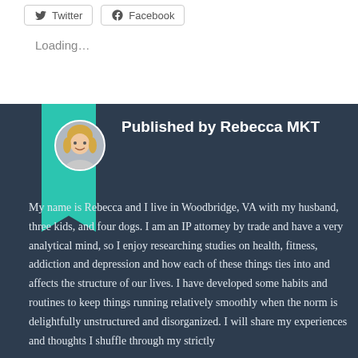Loading...
Published by Rebecca MKT
My name is Rebecca and I live in Woodbridge, VA with my husband, three kids, and four dogs. I am an IP attorney by trade and have a very analytical mind, so I enjoy researching studies on health, fitness, addiction and depression and how each of these things ties into and affects the structure of our lives. I have developed some habits and routines to keep things running relatively smoothly when the norm is delightfully unstructured and disorganized. I will share my experiences and thoughts I shuffle through my strictly